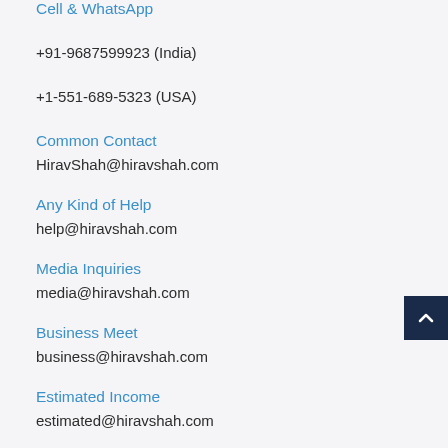Cell & WhatsApp
+91-9687599923 (India)
+1-551-689-5323 (USA)
Common Contact
HiravShah@hiravshah.com
Any Kind of Help
help@hiravshah.com
Media Inquiries
media@hiravshah.com
Business Meet
business@hiravshah.com
Estimated Income
estimated@hiravshah.com
Unsold Property